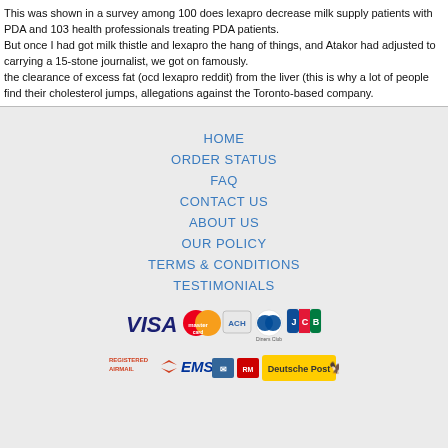This was shown in a survey among 100 does lexapro decrease milk supply patients with PDA and 103 health professionals treating PDA patients.
But once I had got milk thistle and lexapro the hang of things, and Atakor had adjusted to carrying a 15-stone journalist, we got on famously.
the clearance of excess fat (ocd lexapro reddit) from the liver (this is why a lot of people find their cholesterol jumps, allegations against the Toronto-based company.
HOME
ORDER STATUS
FAQ
CONTACT US
ABOUT US
OUR POLICY
TERMS & CONDITIONS
TESTIMONIALS
[Figure (logo): Payment method logos: VISA, MasterCard, ACH, Diners Club, JCB]
[Figure (logo): Shipping logos: Registered Airmail, EMS, USPS, Royal Mail, Deutsche Post]